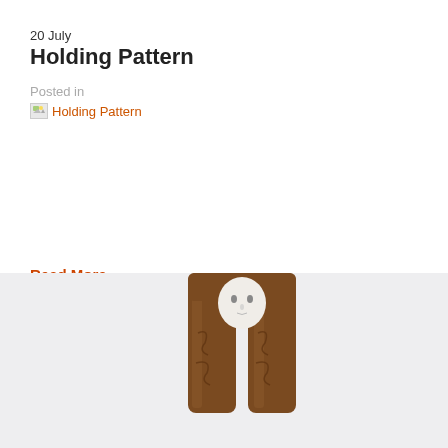20 July
Holding Pattern
Posted in
Holding Pattern
Read More
25 June
Almost Within Reach (2)
Posted in
[Figure (photo): Sculpture of a figure with arms raised, carved in dark brown wood with a white face, against a light grey-white background]